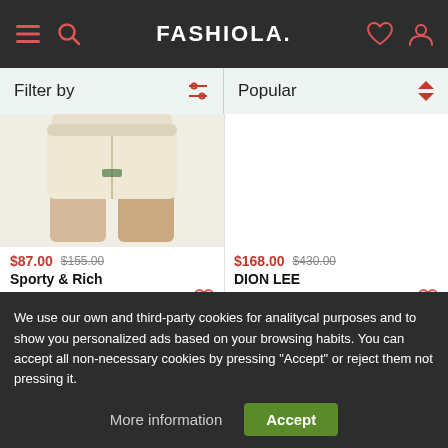FASHIOLA.
Filter by | Popular
[Figure (photo): Product photo: cream/off-white shorts worn by a person, shown from waist down]
$87.00 $155.00
Sporty & Rich
Off-White Cotton Cable K...
$168.00 $430.00
DION LEE
Off-White Loop Tank Top
We use our own and third-party cookies for analitycal purposes and to show you personalized ads based on your browsing habits. You can accept all non-necessary cookies by pressing "Accept" or reject them not pressing it.
More information | Accept